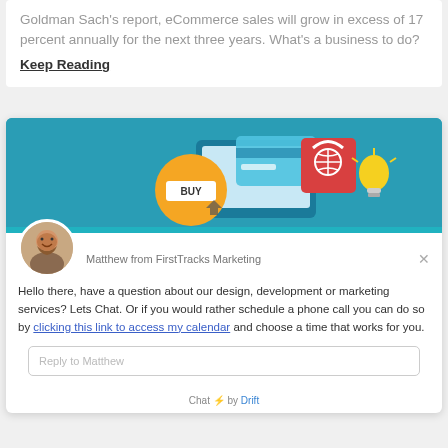Goldman Sach's report, eCommerce sales will grow in excess of 17 percent annually for the next three years. What's a business to do? Keep Reading
[Figure (screenshot): Chat widget from FirstTracks Marketing showing an eCommerce banner image with a BUY button, shopping bag, credit card and lightbulb icons, an avatar of Matthew, a greeting message with a link to access a calendar, a reply input box, and a 'Chat by Drift' footer.]